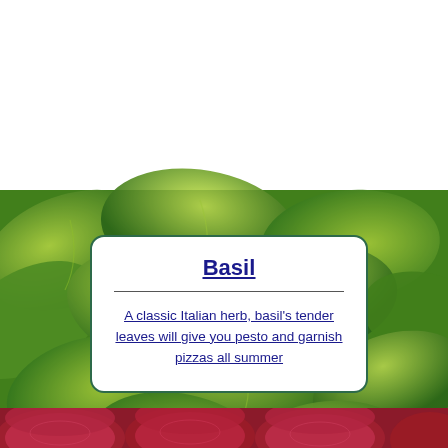[Figure (photo): Close-up photo of fresh green basil leaves filling the upper portion of the page]
Basil
A classic Italian herb, basil's tender leaves will give you pesto and garnish pizzas all summer
[Figure (photo): Close-up photo of dark red/purple beetroots at the bottom of the page]